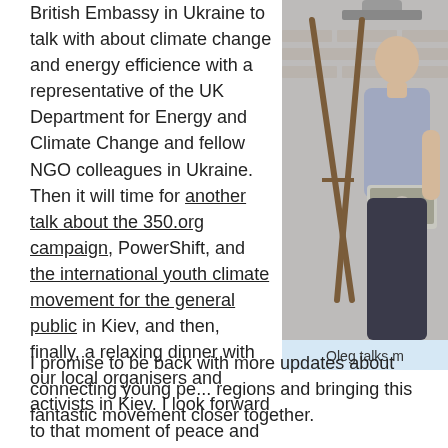British Embassy in Ukraine to talk with about climate change and energy efficience with a representative of the UK Department for Energy and Climate Change and fellow NGO colleagues in Ukraine. Then it will time for another talk about the 350.org campaign, PowerShift, and the international youth climate movement for the general public in Kiev, and then, finally, a relaxing dinner with our local organisers and activists in Kiev. I look forward to that moment of peace and laughter before the next whirlwind round of activities begins tomorrow.
[Figure (photo): A man (Oleg) standing and talking, holding a laptop, in front of a brick wall. A wooden easel is visible beside him.]
Oleg talks m
I promise to be back with more updates about connecting young pe... regions and bringing this fantastic movement closer together.